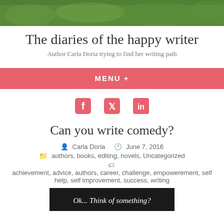[Figure (photo): Header photo of green grass/nature background]
The diaries of the happy writer
Author Carla Doria trying to find her writing path
MENU +
[Figure (other): Social media icons: Facebook, Twitter, LinkedIn in salmon/red color]
Can you write comedy?
Carla Doria   June 7, 2016
authors, books, editing, novels, Uncategorized
achievement, advice, authors, career, challenge, empowerement, self help, self improvement, success, writing
[Figure (photo): Partial image of handwritten text reading 'Ok... Think of something?']